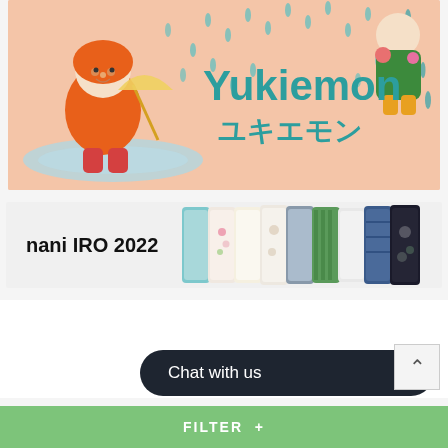[Figure (illustration): Yukiemon banner: illustrated character in orange raincoat splashing in puddles, holding yellow umbrella, with rain drops and Japanese text 'Yukiemon ユキエモン' in teal]
[Figure (photo): nani IRO 2022 banner: text 'nani IRO 2022' in bold black on light background, with rolled fabric bolts of various colors and patterns on right side]
Chat with us
FILTER +